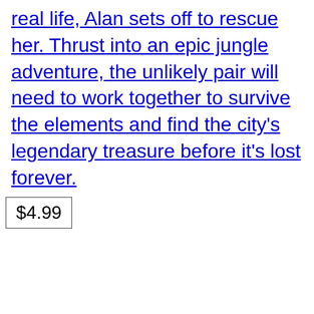real life, Alan sets off to rescue her. Thrust into an epic jungle adventure, the unlikely pair will need to work together to survive the elements and find the city's legendary treasure before it's lost forever.
$4.99